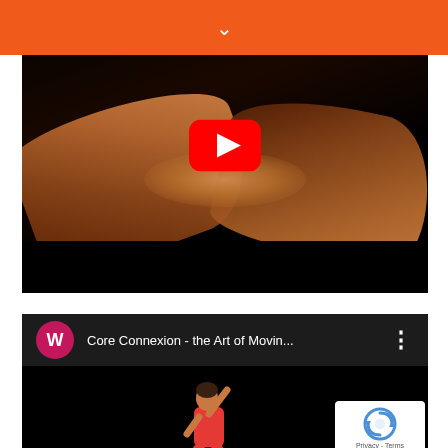[Figure (screenshot): Orange navigation bar with white chevron/down arrow in the center]
[Figure (screenshot): YouTube video thumbnail showing two hands touching/interlocking against a dark background, with YouTube red play button overlay]
[Figure (screenshot): YouTube video player showing 'Core Connexion - the Art of Movin...' with channel avatar W (magenta circle) in the header, and a dancer in red outfit against black background in the video area, with reCAPTCHA Privacy-Terms badge in bottom right corner]